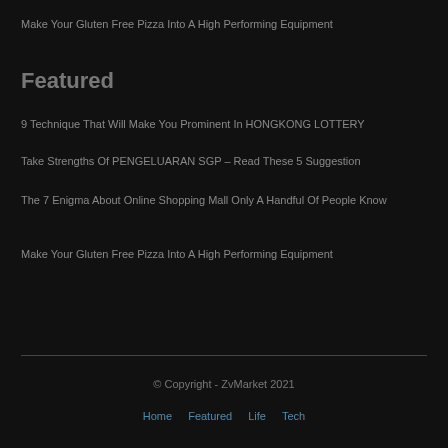Make Your Gluten Free Pizza Into A High Performing Equipment
Featured
9 Technique That Will Make You Prominent In HONGKONG LOTTERY
Take Strengths Of PENGELUARAN SGP – Read These 5 Suggestion
The 7 Enigma About Online Shopping Mall Only A Handful Of People Know
Make Your Gluten Free Pizza Into A High Performing Equipment
© Copyright - ZvMarket 2021
Home   Featured   Life   Tech